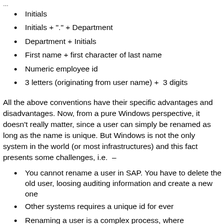Initials
Initials + "." + Department
Department + Initials
First name + first character of last name
Numeric employee id
3 letters (originating from user name) +  3 digits
All the above conventions have their specific advantages and disadvantages. Now, from a pure Windows perspective, it doesn't really matter, since a user can simply be renamed as long as the name is unique. But Windows is not the only system in the world (or most infrastructures) and this fact presents some challenges, i.e.  –
You cannot rename a user in SAP. You have to delete the old user, loosing auditing information and create a new one
Other systems requires a unique id for ever
Renaming a user is a complex process, where